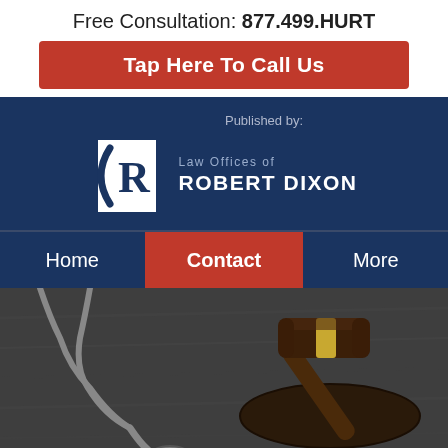Free Consultation: 877.499.HURT
Tap Here To Call Us
[Figure (logo): Law Offices of Robert Dixon logo with stylized R emblem on dark blue background, with text 'Published by:' above]
Home | Contact | More (navigation bar)
[Figure (photo): Photo of a stethoscope and a judge's gavel with sound block on a dark wooden surface]